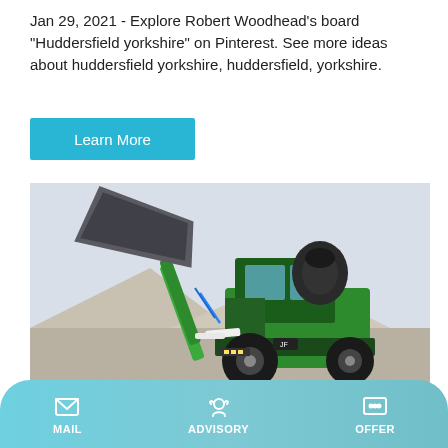Jan 29, 2021 - Explore Robert Woodhead's board "Huddersfield yorkshire" on Pinterest. See more ideas about huddersfield yorkshire, huddersfield, yorkshire.
[Figure (other): A cyan/blue 'Learn More' button]
[Figure (photo): A green self-loading concrete mixer / construction vehicle with a raised loading hopper, photographed outdoors at a gravel site]
MAIL   ADVISORY   OFFER